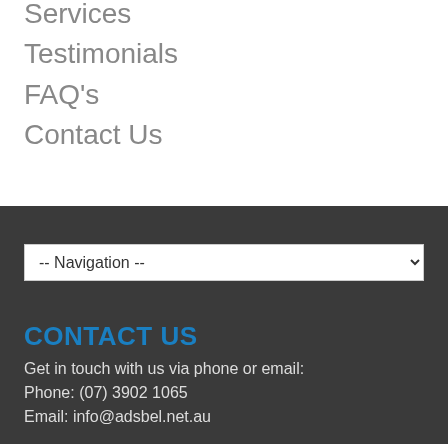Services
Testimonials
FAQ's
Contact Us
[Figure (screenshot): Navigation dropdown selector showing '-- Navigation --' placeholder text with a dropdown arrow]
CONTACT US
Get in touch with us via phone or email:
Phone: (07) 3902 1065
Email: info@adsbel.net.au